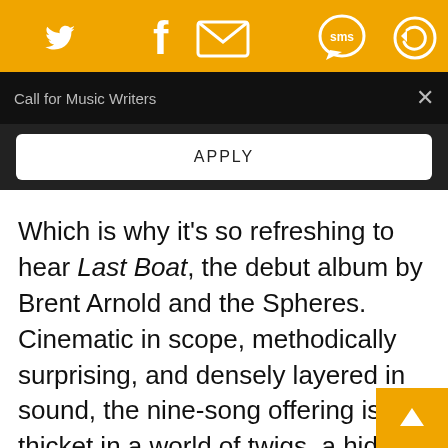[Figure (screenshot): Orange top navigation bar with social media icons: Twitter bird, Facebook f, envelope/email, SMS speech bubble, and a sync/refresh circle icon — all in white on orange background.]
Call for Music Writers
APPLY
Which is why it’s so refreshing to hear Last Boat, the debut album by Brent Arnold and the Spheres. Cinematic in scope, methodically surprising, and densely layered in sound, the nine-song offering is a thicket in a world of twigs, a hidden abyss in a neighborhood of ponds. The album patiently unfolds like a map across a table, each song its own charted portion of a greater whole. Every track is loaded with prominent, assured string arrangements, but don’t mistake Last Boat fo…